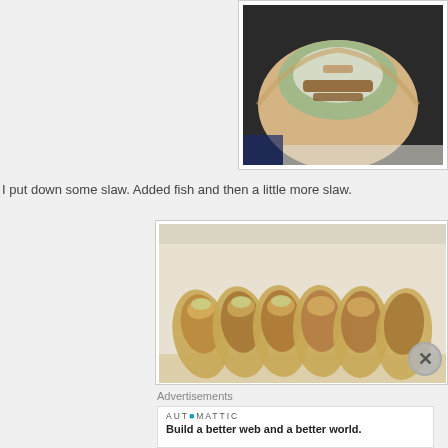[Figure (photo): Close-up photo of a fish taco with slaw on a tortilla, viewed from above]
I put down some slaw. Added fish and then a little more slaw.
[Figure (photo): Row of several fish tacos in flour tortillas with coleslaw filling, arranged side by side in a baking dish]
Advertisements
[Figure (other): Automattic advertisement: Build a better web and a better world.]